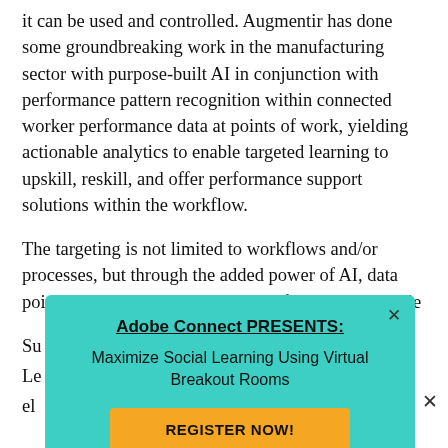it can be used and controlled. Augmentir has done some groundbreaking work in the manufacturing sector with purpose-built AI in conjunction with performance pattern recognition within connected worker performance data at points of work, yielding actionable analytics to enable targeted learning to upskill, reskill, and offer performance support solutions within the workflow.

The targeting is not limited to workflows and/or processes, but through the added power of AI, data points can be captured within workflows at the step le...  Su... Le... el...
[Figure (screenshot): A popup modal with teal/turquoise background. Title: 'Adobe Connect PRESENTS:' (bold, underlined). Subtitle: 'Maximize Social Learning Using Virtual Breakout Rooms'. A yellow/orange button labeled 'REGISTER NOW!'. A close (×) button in the top-right corner of the modal, and another × outside the modal to the right.]